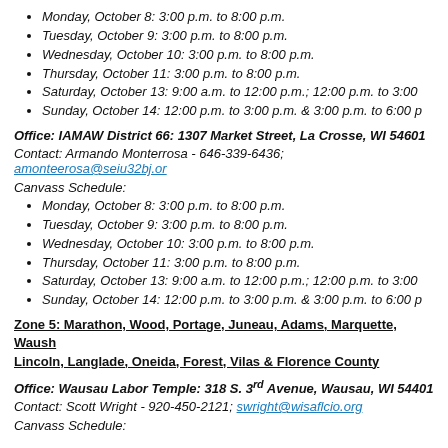Monday, October 8: 3:00 p.m. to 8:00 p.m.
Tuesday, October 9: 3:00 p.m. to 8:00 p.m.
Wednesday, October 10: 3:00 p.m. to 8:00 p.m.
Thursday, October 11: 3:00 p.m. to 8:00 p.m.
Saturday, October 13: 9:00 a.m. to 12:00 p.m.; 12:00 p.m. to 3:00
Sunday, October 14: 12:00 p.m. to 3:00 p.m. & 3:00 p.m. to 6:00 p
Office: IAMAW District 66: 1307 Market Street, La Crosse, WI 54601
Contact: Armando Monterrosa - 646-339-6436; amonteerosa@seiu32bj.or
Canvass Schedule:
Monday, October 8: 3:00 p.m. to 8:00 p.m.
Tuesday, October 9: 3:00 p.m. to 8:00 p.m.
Wednesday, October 10: 3:00 p.m. to 8:00 p.m.
Thursday, October 11: 3:00 p.m. to 8:00 p.m.
Saturday, October 13: 9:00 a.m. to 12:00 p.m.; 12:00 p.m. to 3:00
Sunday, October 14: 12:00 p.m. to 3:00 p.m. & 3:00 p.m. to 6:00 p
Zone 5: Marathon, Wood, Portage, Juneau, Adams, Marquette, Waush Lincoln, Langlade, Oneida, Forest, Vilas & Florence County
Office: Wausau Labor Temple: 318 S. 3rd Avenue, Wausau, WI 54401
Contact: Scott Wright - 920-450-2121; swright@wisaflcio.org
Canvass Schedule: